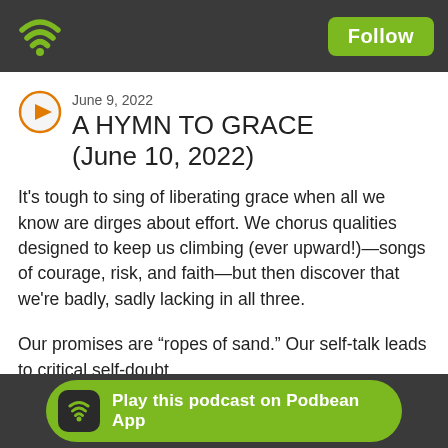Follow
A HYMN TO GRACE (June 10, 2022)
June 9, 2022
It’s tough to sing of liberating grace when all we know are dirges about effort. We chorus qualities designed to keep us climbing (ever upward!)—songs of courage, risk, and faith—but then discover that we’re badly, sadly lacking in all three.
Our promises are “ropes of sand.” Our self-talk leads to critical self-doubt.
Play this podcast on Podbean App